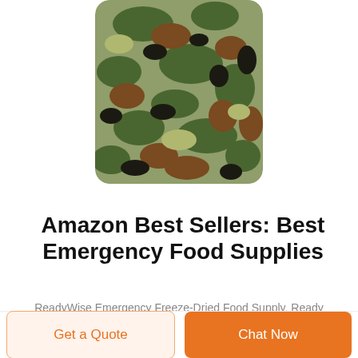[Figure (photo): A camouflage-pattern bag/pouch with rounded corners, cropped at top, showing military green, brown, and black camo pattern.]
Amazon Best Sellers: Best Emergency Food Supplies
ReadyWise Emergency Freeze-Dried Food Supply, Ready Grab-and-Go Bags, Survival Food, Disaster Preparedness, Camping Meals, Variety Pack of Meals for 72 Hours, 34
Get a Quote
Chat Now